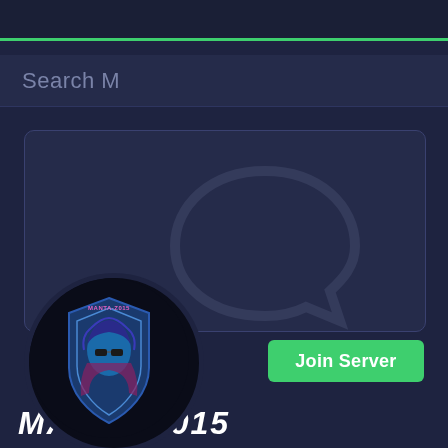Search M
[Figure (screenshot): Discord server search result card showing MANTA-2015 server with a gaming logo (hooded figure with sunglasses and shield) and a Join Server button]
MANTA 2015